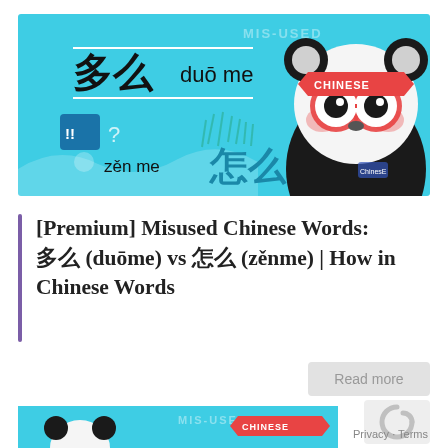[Figure (illustration): Infographic banner with light blue background showing Chinese characters 多么 (duō me) at top left, 怎么 (zěn me) at bottom left with pinyin labels, a cartoon panda wearing red glasses and a red CHINESE banner on its head, decorative grass and wave elements, and MIS-USED text watermark. The panda is depicted in black and white with a red/orange glasses motif.]
[Premium] Misused Chinese Words: 多么 (duōme) vs 怎么 (zěnme) | How in Chinese Words
Read more